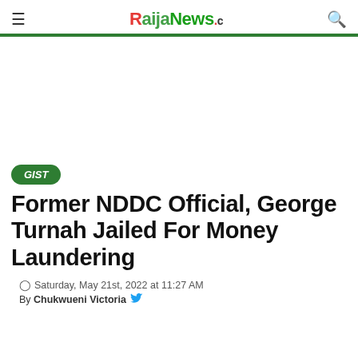NaijaNews.com
GIST
Former NDDC Official, George Turnah Jailed For Money Laundering
Saturday, May 21st, 2022 at 11:27 AM
By Chukwueni Victoria